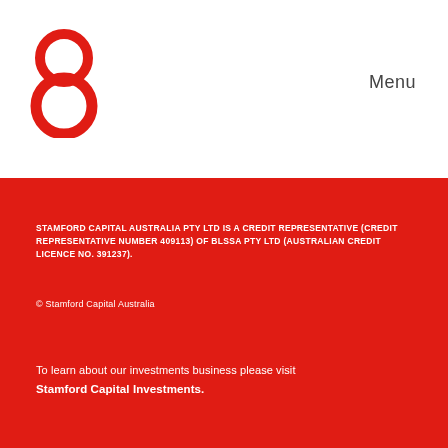[Figure (logo): Stamford Capital logo — stylized red figure-8 / two interlocking circles]
Menu
STAMFORD CAPITAL AUSTRALIA PTY LTD IS A CREDIT REPRESENTATIVE (CREDIT REPRESENTATIVE NUMBER 409113) OF BLSSA PTY LTD (AUSTRALIAN CREDIT LICENCE NO. 391237).
© Stamford Capital Australia
To learn about our investments business please visit Stamford Capital Investments.